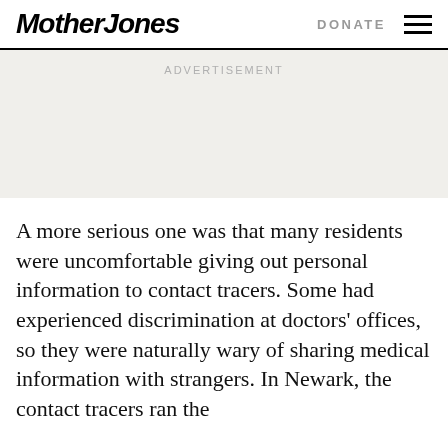Mother Jones | DONATE
ADVERTISEMENT
A more serious one was that many residents were uncomfortable giving out personal information to contact tracers. Some had experienced discrimination at doctors' offices, so they were naturally wary of sharing medical information with strangers. In Newark, the contact tracers ran the